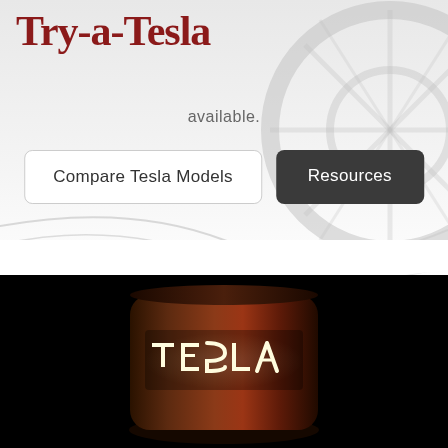Try-a-Tesla
available.
[Figure (screenshot): Two buttons: 'Compare Tesla Models' (white/light) and 'Resources' (dark gray), displayed on a light gray background with subtle wave lines and a car wheel silhouette on the right side.]
[Figure (photo): A Tesla Supercharger station illuminated with the 'TESLA' logo lit up in white on a dark red cylindrical column, photographed against a black background.]